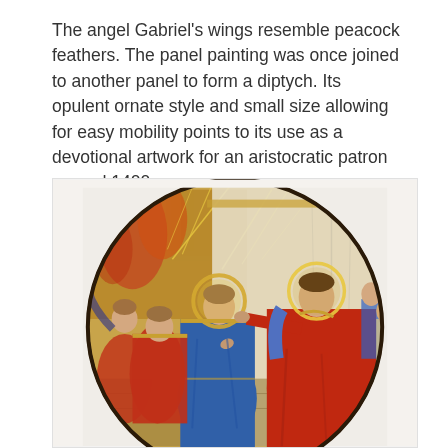The angel Gabriel's wings resemble peacock feathers. The panel painting was once joined to another panel to form a diptych. Its opulent ornate style and small size allowing for easy mobility points to its use as a devotional artwork for an aristocratic patron around 1400.
[Figure (illustration): A circular tondo painting depicting a religious scene, likely an Annunciation or Coronation of the Virgin. A figure in red robes (Virgin Mary) is seated on the right, reaching toward an angel in a blue robe with a golden halo in the center. Additional angels with red and gold garments stand to the left. The background features golden rays and ornate drapery. The painting style is characteristic of International Gothic art around 1400.]